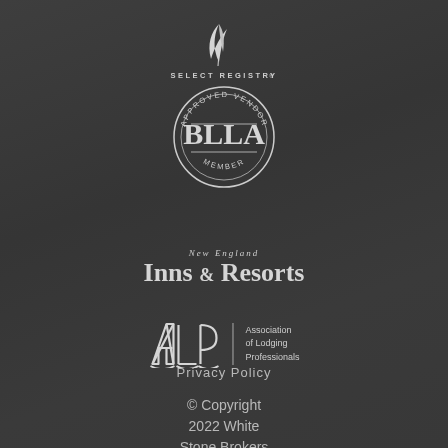[Figure (logo): Select Registry logo with feather quill icon and text SELECT REGISTRY in small caps]
[Figure (logo): BLLA circular badge logo with text APPROVED VENDOR around the top arc, BLLA in large serif letters in center, MEMBER along the bottom arc]
[Figure (logo): New England Inns & Resorts logo with small italic text 'New England' above large serif 'Inns & Resorts']
[Figure (logo): ALP Association of Lodging Professionals logo with stylized ALP letters and text 'Association of Lodging Professionals' to the right]
Privacy Policy
© Copyright 2022 White Stone Brokers